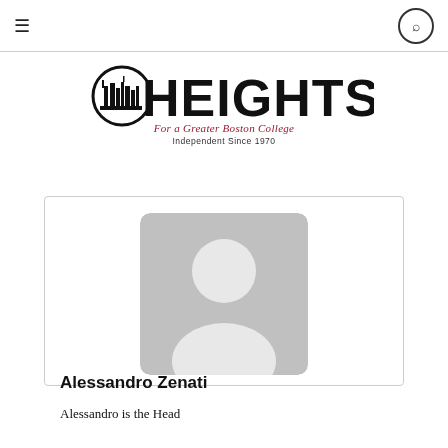≡  [search]
[Figure (logo): The Heights newspaper logo with city skyline icon and text 'HEIGHTS', tagline 'For a Greater Boston College', 'Independent Since 1970']
[Figure (photo): Default grey placeholder avatar image with silhouette of a person]
Alessandro Zenati
Alessandro is the Head